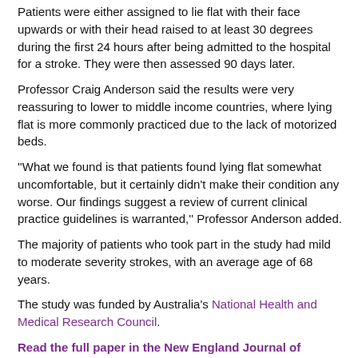Patients were either assigned to lie flat with their face upwards or with their head raised to at least 30 degrees during the first 24 hours after being admitted to the hospital for a stroke. They were then assessed 90 days later.
Professor Craig Anderson said the results were very reassuring to lower to middle income countries, where lying flat is more commonly practiced due to the lack of motorized beds.
''What we found is that patients found lying flat somewhat uncomfortable, but it certainly didn't make their condition any worse. Our findings suggest a review of current clinical practice guidelines is warranted,'' Professor Anderson added.
The majority of patients who took part in the study had mild to moderate severity strokes, with an average age of 68 years.
The study was funded by Australia's National Health and Medical Research Council.
Read the full paper in the New England Journal of Medicine.